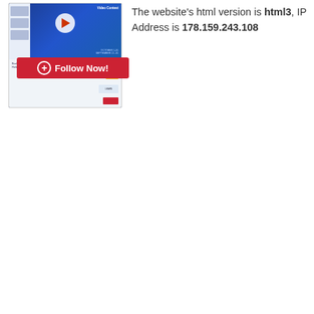[Figure (screenshot): Screenshot thumbnail of a website showing a video contest page with a play button, blue background, and a 'Follow Now!' red button below]
The website's html version is html3, IP Address is 178.159.243.108